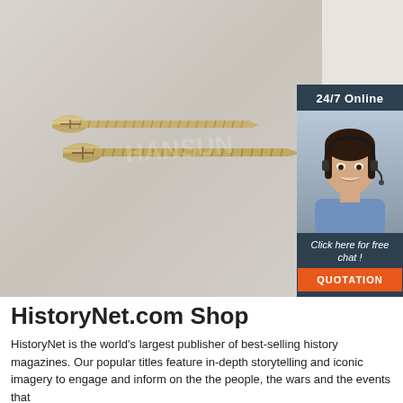[Figure (photo): Photo of two gold/brass-colored wood screws with flat heads on a light gray background, with a customer service agent (woman with headset) panel on the right overlaid with '24/7 Online' text, 'Click here for free chat!' text, and an orange QUOTATION button]
HistoryNet.com Shop
HistoryNet is the world's largest publisher of best-selling history magazines. Our popular titles feature in-depth storytelling and iconic imagery to engage and inform on the the people, the wars and the events that